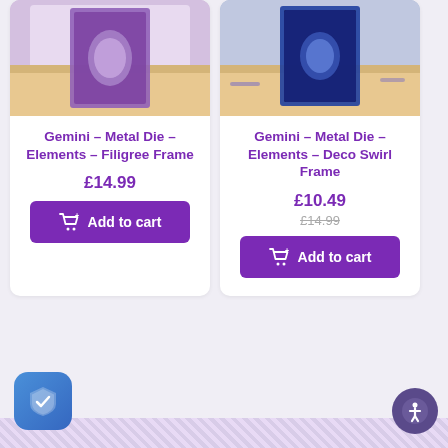[Figure (screenshot): Product card for Gemini - Metal Die - Elements - Filigree Frame showing a purple decorative card product]
Gemini - Metal Die - Elements - Filigree Frame
£14.99
Add to cart
[Figure (screenshot): Product card for Gemini - Metal Die - Elements - Deco Swirl Frame showing a blue decorative card product]
Gemini - Metal Die - Elements - Deco Swirl Frame
£10.49
£14.99
Add to cart